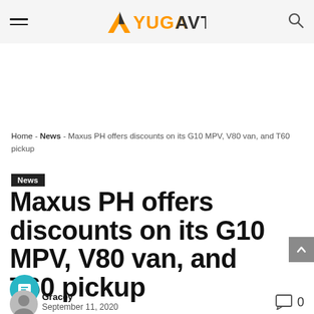YUGAAVTO
Home - News - Maxus PH offers discounts on its G10 MPV, V80 van, and T60 pickup
News
Maxus PH offers discounts on its G10 MPV, V80 van, and T60 pickup
Gracey
September 11, 2020